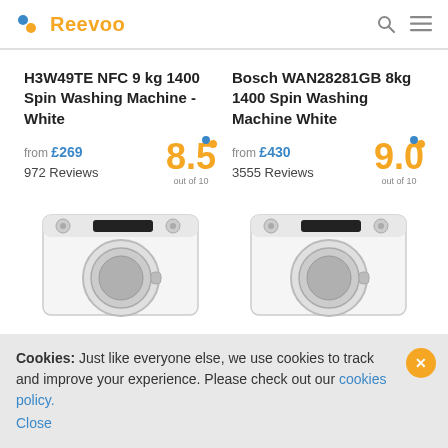Reevoo
H3W49TE NFC 9 kg 1400 Spin Washing Machine - White
from £269
972 Reviews
8.5 out of 10
Bosch WAN28281GB 8kg 1400 Spin Washing Machine White
from £430
3555 Reviews
9.0 out of 10
[Figure (photo): White front-loading washing machine, left product]
[Figure (photo): White front-loading washing machine, right product]
Cookies: Just like everyone else, we use cookies to track and improve your experience. Please check out our cookies policy.
Close